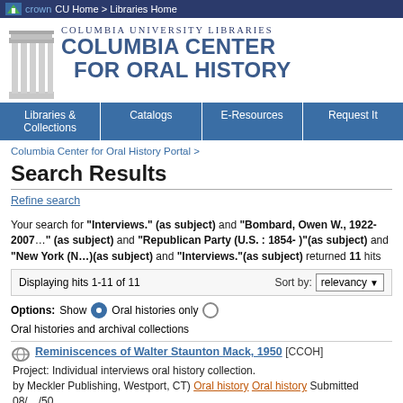CU Home > Libraries Home
[Figure (logo): Columbia University Libraries logo with pillar graphic and text 'COLUMBIA UNIVERSITY LIBRARIES / COLUMBIA CENTER FOR ORAL HISTORY']
Libraries & Collections | Catalogs | E-Resources | Request It
Columbia Center for Oral History Portal >
Search Results
Refine search
Your search for "Interviews." (as subject) and "Bombard, Owen W., 1922-2007" (as subject) and "Republican Party (U.S. : 1854- )"(as subject) and "New York (N…)" (as subject) and "Interviews."(as subject) returned 11 hits
Displaying hits 1-11 of 11    Sort by: relevancy
Options: Show  ● Oral histories only  ○ Oral histories and archival collections
Reminiscences of Walter Staunton Mack, 1950 [CCOH]
Project: Individual interviews oral history collection.
by Meckler Publishing, Westport, CT) Oral history Oral history Submitted 08/../50